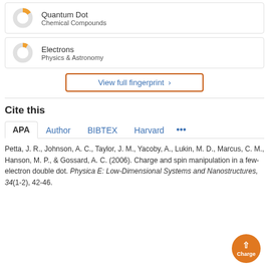[Figure (donut-chart): Donut chart for Quantum Dot / Chemical Compounds, approximately 40% filled orange]
Quantum Dot
Chemical Compounds
[Figure (donut-chart): Donut chart for Electrons / Physics & Astronomy, approximately 35% filled orange]
Electrons
Physics & Astronomy
View full fingerprint >
Cite this
APA | Author | BIBTEX | Harvard | ...
Petta, J. R., Johnson, A. C., Taylor, J. M., Yacoby, A., Lukin, M. D., Marcus, C. M., Hanson, M. P., & Gossard, A. C. (2006). Charge and spin manipulation in a few-electron double dot. Physica E: Low-Dimensional Systems and Nanostructures, 34(1-2), 42-46.